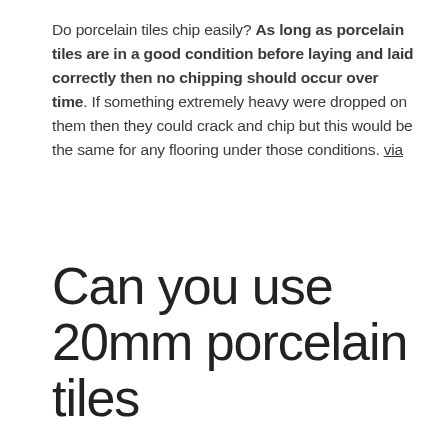Do porcelain tiles chip easily? As long as porcelain tiles are in a good condition before laying and laid correctly then no chipping should occur over time. If something extremely heavy were dropped on them then they could crack and chip but this would be the same for any flooring under those conditions. via
Can you use 20mm porcelain tiles outdoors?